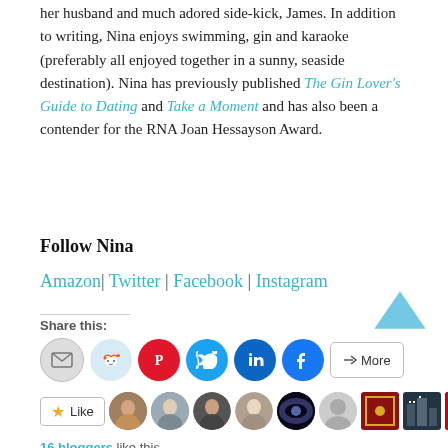her husband and much adored side-kick, James. In addition to writing, Nina enjoys swimming, gin and karaoke (preferably all enjoyed together in a sunny, seaside destination). Nina has previously published The Gin Lover's Guide to Dating and Take a Moment and has also been a contender for the RNA Joan Hessayson Award.
Follow Nina
Amazon| Twitter | Facebook | Instagram
Share this:
16 bloggers like this.